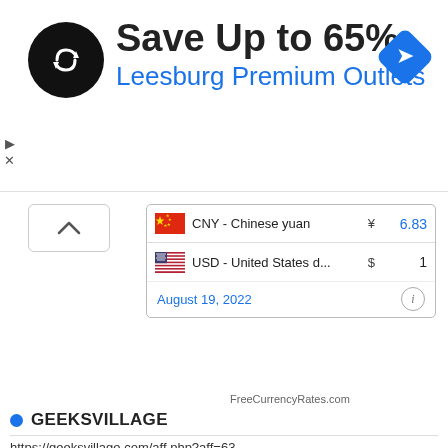[Figure (screenshot): Advertisement banner: Save Up to 65% at Leesburg Premium Outlets with circular black logo and blue diamond navigation icon]
| Flag | Currency | Symbol | Value |
| --- | --- | --- | --- |
| 🇨🇳 | CNY - Chinese yuan | ¥ | 6.83 |
| 🇺🇸 | USD - United States d... | $ | 1 |
August 19, 2022
FreeCurrencyRates.com
GEEKSVILLAGE
https://geeksvillage.com/aff.php?aff=63
Popular Posts
[Figure (photo): Blurry indoor photo showing silhouettes of people in a room with dim lighting]